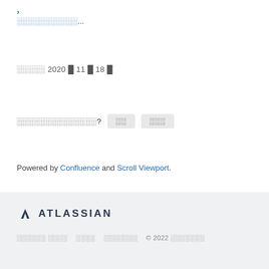▶ ░░░░░░░░░░░...
░░░░░ 2020 █ 11 █ 18 █
░░░░░░░░░░░░░░? ░░ ░░░
Powered by Confluence and Scroll Viewport.
▲ ATLASSIAN  ░░░░░░ ░░░░  ░░░░  ░░░░░░░  © 2022 ░░░░░░░